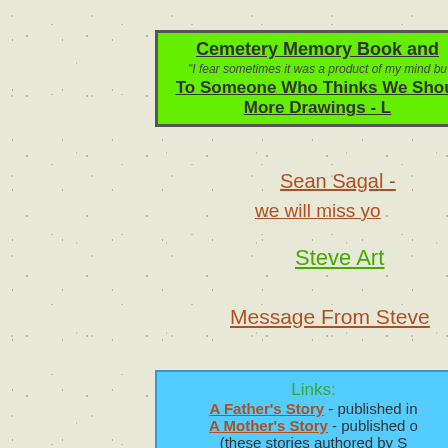[Figure (other): Green box containing links: Cemetery Memory Book and [truncated], italic quote 'I fear sometimes it was a product of my mind bu[truncated]', To Someone Who Thinks We Shou[truncated], More Drawings - L[truncated]]
Sean Sagal - [truncated]
we will miss yo[truncated]
Steve Art
Message From Steve[truncated]
[Figure (other): Blue box containing Links: A Father's Story - published in[truncated], A Mother's Story - published o[truncated], (these stories authored by S[truncated])]